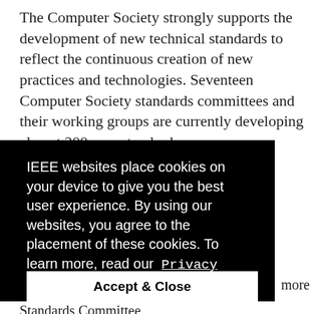The Computer Society strongly supports the development of new technical standards to reflect the continuous creation of new practices and technologies. Seventeen Computer Society standards committees and their working groups are currently developing almost 200 new standards.
IEEE websites place cookies on your device to give you the best user experience. By using our websites, you agree to the placement of these cookies. To learn more, read our  Privacy Policy.
Accept & Close
more
Standards Committee